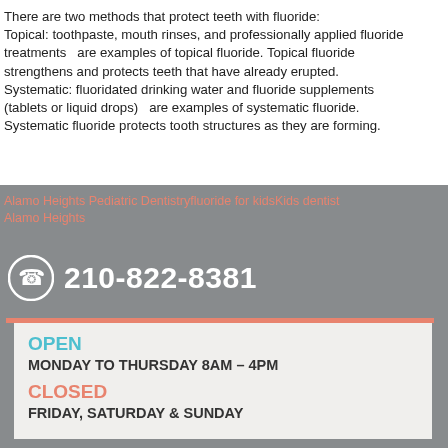There are two methods that protect teeth with fluoride: Topical: toothpaste, mouth rinses, and professionally applied fluoride treatments  are examples of topical fluoride. Topical fluoride strengthens and protects teeth that have already erupted. Systematic: fluoridated drinking water and fluoride supplements (tablets or liquid drops)  are examples of systematic fluoride. Systematic fluoride protects tooth structures as they are forming.
Alamo Heights Pediatric Dentistryfluoride for kidsKids dentist Alamo Heights
210-822-8381
OPEN
MONDAY TO THURSDAY 8AM – 4PM
CLOSED
FRIDAY, SATURDAY & SUNDAY